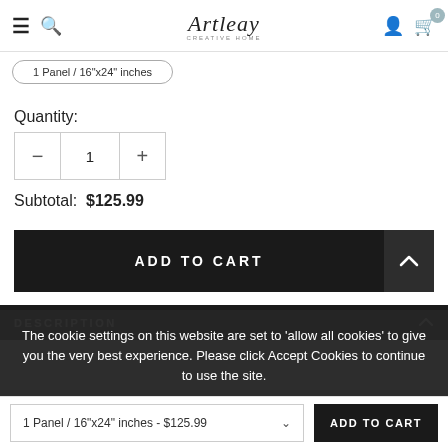Artleay - creative work | navigation bar with hamburger, search, user, cart (0)
Quantity:
1
Subtotal: $125.99
ADD TO CART
The cookie settings on this website are set to 'allow all cookies' to give you the very best experience. Please click Accept Cookies to continue to use the site.
PRIVACY POLICY   ACCEPT ✓
DESCRIPTION
1 Panel / 16"x24" inches - $125.99
ADD TO CART